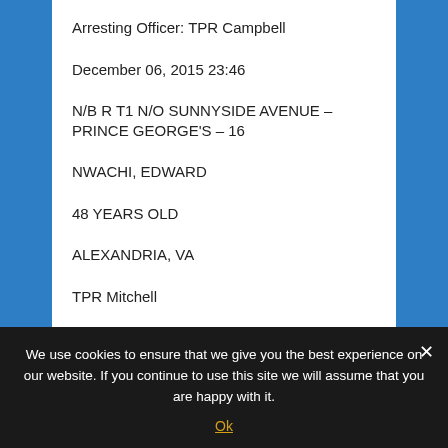Arresting Officer: TPR Campbell
December 06, 2015 23:46
N/B R T1 N/O SUNNYSIDE AVENUE – PRINCE GEORGE'S – 16
NWACHI, EDWARD
48 YEARS OLD
ALEXANDRIA, VA
TPR Mitchell
We use cookies to ensure that we give you the best experience on our website. If you continue to use this site we will assume that you are happy with it.
Ok